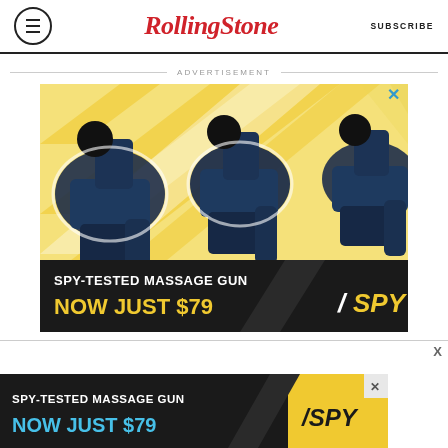Rolling Stone | SUBSCRIBE
ADVERTISEMENT
[Figure (photo): Advertisement for SPY-Tested Massage Gun: multiple dark blue massage guns on yellow diagonal stripe background. Bottom black band reads 'SPY-TESTED MASSAGE GUN / NOW JUST $79' with SPY logo in yellow.]
[Figure (photo): Bottom sticky advertisement banner: 'SPY-TESTED MASSAGE GUN / NOW JUST $79' with SPY logo on yellow background.]